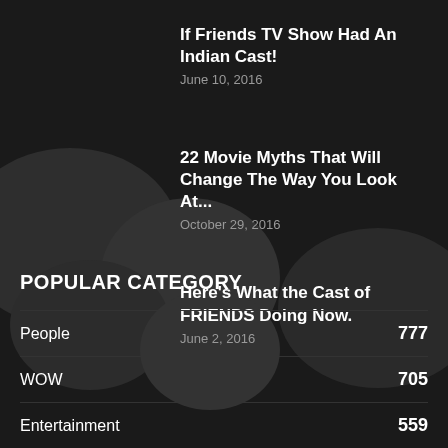If Friends TV Show Had An Indian Cast!
June 10, 2016
22 Movie Myths That Will Change The Way You Look At...
October 29, 2016
Here's What the Cast of FRIENDS Doing Now.
June 2, 2016
POPULAR CATEGORY
| Category | Count |
| --- | --- |
| People | 777 |
| WOW | 705 |
| Entertainment | 559 |